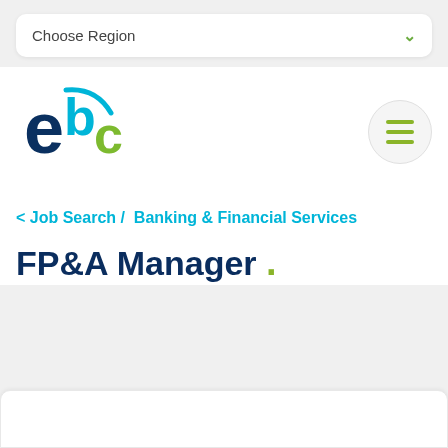Choose Region
[Figure (logo): ebc logo with teal and dark blue letters and green arc]
< Job Search / Banking & Financial Services
FP&A Manager .